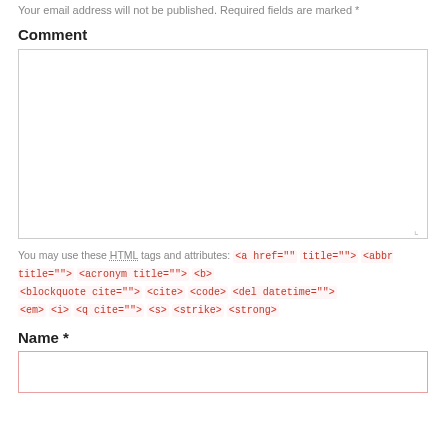Your email address will not be published. Required fields are marked *
Comment
[Figure (other): Large empty comment textarea input box]
You may use these HTML tags and attributes: <a href="" title=""> <abbr title=""> <acronym title=""> <b> <blockquote cite=""> <cite> <code> <del datetime=""> <em> <i> <q cite=""> <s> <strike> <strong>
Name *
[Figure (other): Small empty name text input box]